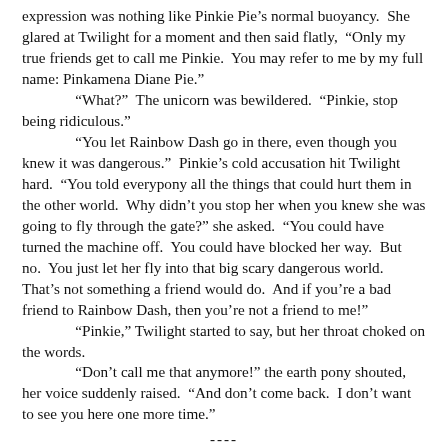expression was nothing like Pinkie Pie’s normal buoyancy.  She glared at Twilight for a moment and then said flatly,  “Only my true friends get to call me Pinkie.  You may refer to me by my full name: Pinkamena Diane Pie.”
“What?”  The unicorn was bewildered.  “Pinkie, stop being ridiculous.”
“You let Rainbow Dash go in there, even though you knew it was dangerous.”  Pinkie’s cold accusation hit Twilight hard.  “You told everypony all the things that could hurt them in the other world.  Why didn’t you stop her when you knew she was going to fly through the gate?” she asked.  “You could have turned the machine off.  You could have blocked her way.  But no.  You just let her fly into that big scary dangerous world.  That’s not something a friend would do.  And if you’re a bad friend to Rainbow Dash, then you’re not a friend to me!”
“Pinkie,” Twilight started to say, but her throat choked on the words.
“Don’t call me that anymore!” the earth pony shouted, her voice suddenly raised.  “And don’t come back.  I don’t want to see you here one more time.”
----
Solar Flare looked up from her paperwork.  “A